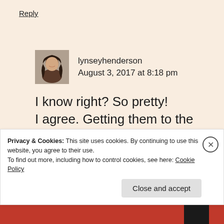Reply
[Figure (photo): Avatar photo of user lynseyhenderson, showing a person with long dark hair]
lynseyhenderson
August 3, 2017 at 8:18 pm
I know right? So pretty! I agree. Getting them to the UK can turn out to be a bit expensive if customs etc get involved. I've tried a few bits from
Privacy & Cookies: This site uses cookies. By continuing to use this website, you agree to their use.
To find out more, including how to control cookies, see here: Cookie Policy
Close and accept